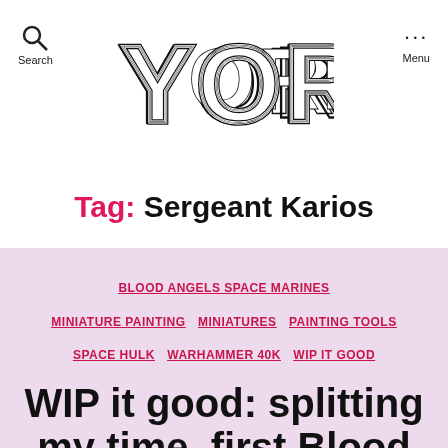[Figure (logo): YORE logo in bold decorative stacked lettering with concentric outline style, black on white]
Search  ···  Menu
Tag: Sergeant Karios
BLOOD ANGELS SPACE MARINES  MINIATURE PAINTING  MINIATURES  PAINTING TOOLS  SPACE HULK  WARHAMMER 40K  WIP IT GOOD
WIP it good: splitting my time, first Blood Angels model